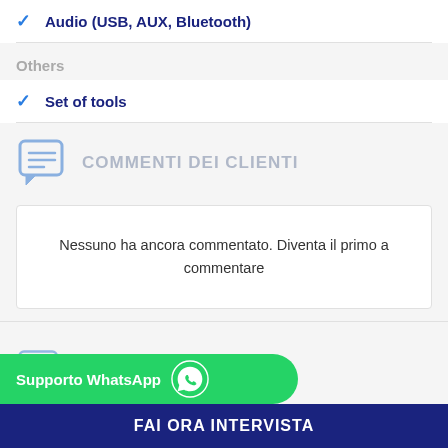Audio (USB, AUX, Bluetooth)
Others
Set of tools
COMMENTI DEI CLIENTI
Nessuno ha ancora commentato. Diventa il primo a commentare
FALORA INTERVISTA
Supporto WhatsApp
FAI ORA INTERVISTA